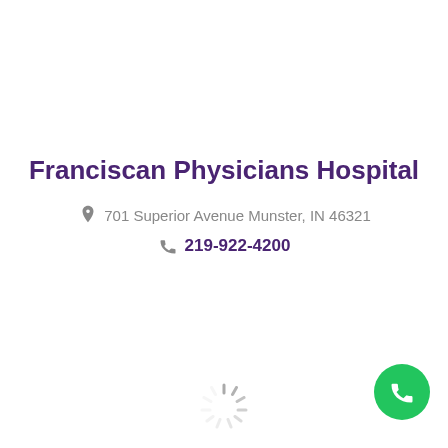Franciscan Physicians Hospital
701 Superior Avenue Munster, IN 46321
219-922-4200
[Figure (other): Green circular phone/call floating action button in bottom right corner]
[Figure (other): Loading spinner animation at bottom center]